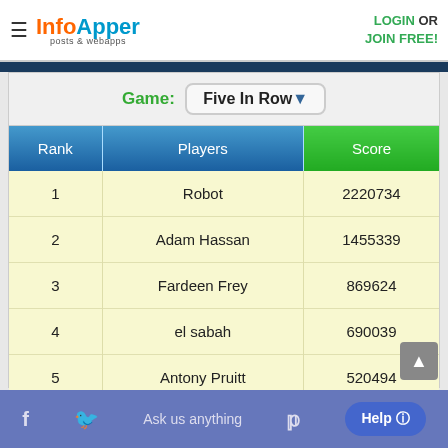InfoApper posts & webapps | LOGIN OR JOIN FREE!
| Rank | Players | Score |
| --- | --- | --- |
| 1 | Robot | 2220734 |
| 2 | Adam Hassan | 1455339 |
| 3 | Fardeen Frey | 869624 |
| 4 | el sabah | 690039 |
| 5 | Antony Pruitt | 520494 |
Play Now >>>
f | Ask us anything | Help ?